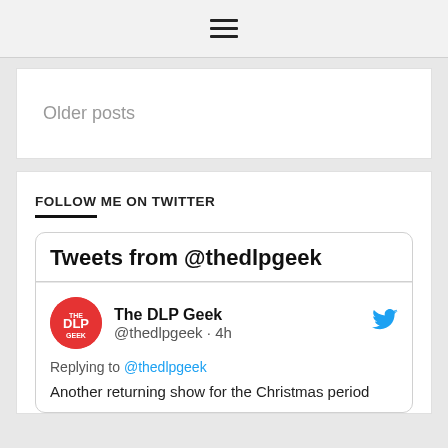≡ (hamburger menu icon)
Older posts
FOLLOW ME ON TWITTER
Tweets from @thedlpgeek
The DLP Geek @thedlpgeek · 4h
Replying to @thedlpgeek
Another returning show for the Christmas period will be...